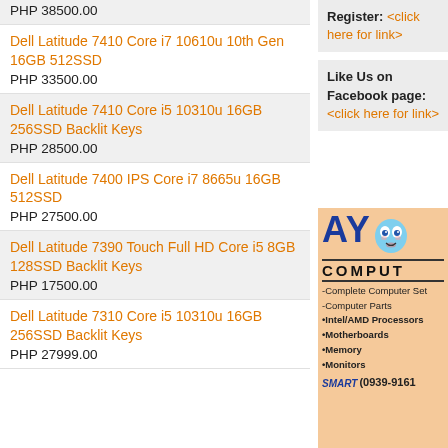PHP 38500.00
Dell Latitude 7410 Core i7 10610u 10th Gen 16GB 512SSD
PHP 33500.00
Dell Latitude 7410 Core i5 10310u 16GB 256SSD Backlit Keys
PHP 28500.00
Dell Latitude 7400 IPS Core i7 8665u 16GB 512SSD
PHP 27500.00
Dell Latitude 7390 Touch Full HD Core i5 8GB 128SSD Backlit Keys
PHP 17500.00
Dell Latitude 7310 Core i5 10310u 16GB 256SSD Backlit Keys
PHP 27999.00
Register: <click here for link>
Like Us on Facebook page: <click here for link>
[Figure (advertisement): AYO Computer advertisement showing company name, services list including Complete Computer Sets, Computer Parts, Intel/AMD Processors, Motherboards, Memory, Monitors, and SMART phone number (0939-9161)]